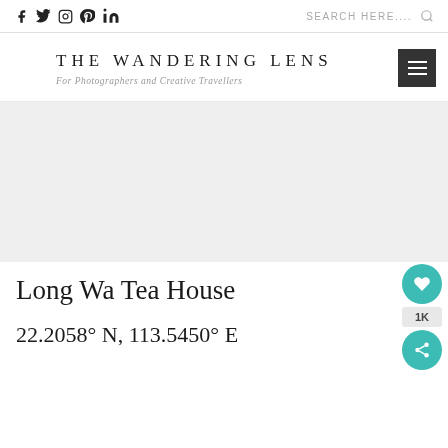Social icons: f (Facebook), Twitter, Instagram, Pinterest, in (LinkedIn) | SEARCH HERE.... [search icon]
[Figure (logo): The Wandering Lens logo: large spaced serif text 'THE WANDERING LENS' with cursive subtitle 'For Photographers and Creative Travellers', and hamburger menu icon on the right]
[Figure (photo): Large light grey placeholder hero image area]
Long Wa Tea House
22.2058° N, 113.5450° E